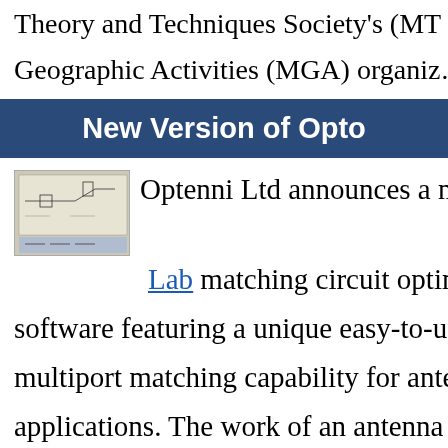Theory and Techniques Society's (MTT) Member Geographic Activities (MGA) organiz...
New Version of Opto...
[Figure (screenshot): Thumbnail image of Optenni Lab software circuit diagram interface]
Optenni Ltd announces a new ve... Lab matching circuit optimizatio... software featuring a unique easy-to-us... multiport matching capability for ante... applications. The work of an antenna e... increasingly complex due to the growi...